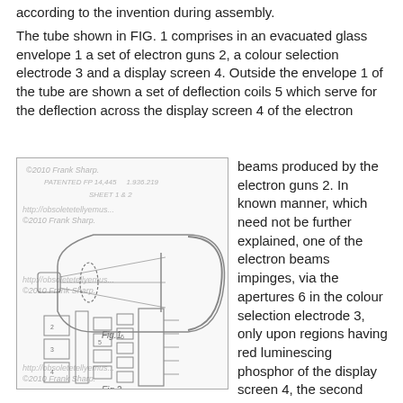according to the invention during assembly.
The tube shown in FIG. 1 comprises in an evacuated glass envelope 1 a set of electron guns 2, a colour selection electrode 3 and a display screen 4. Outside the envelope 1 of the tube are shown a set of deflection coils 5 which serve for the deflection across the display screen 4 of the electron beams produced by the electron guns 2. In known manner, which need not be further explained, one of the electron beams impinges, via the apertures 6 in the colour selection electrode 3, only upon regions having red luminescing phosphor of the display screen 4, the second electron beam impinges only upon regions having green phosphor and the third electron beam impinges only upon regions having blue phosphor. The
[Figure (engineering-diagram): Patent diagram showing two figures: Fig.1 - a side cross-section of a cathode ray tube showing the glass envelope, electron gun assembly, and display screen; Fig.2 - a detailed view of the electron gun components. Watermarked with copyright notices for Frank Sharp and obsoletetellyemus.]